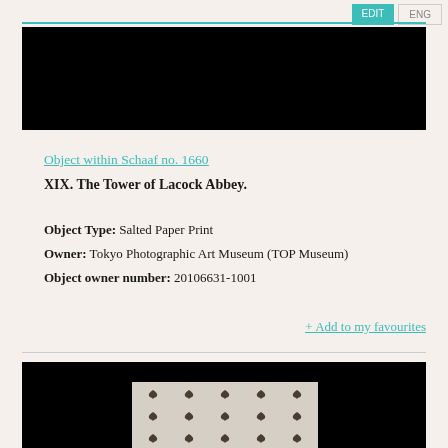EDIT | ENG
[Figure (photo): Black rectangle representing a dark/blank photographic image at the top of the page]
Object within Schaaf no. 1660
XIX. The Tower of Lacock Abbey.
Object Type: Salted Paper Print
Owner: Tokyo Photographic Art Museum (TOP Museum)
Object owner number: 20106631-1001
+ Add to my favourites
[Figure (photo): Photographic print showing a leaf/botanical pattern repeated across a light-colored photographic paper, displayed against a black background]